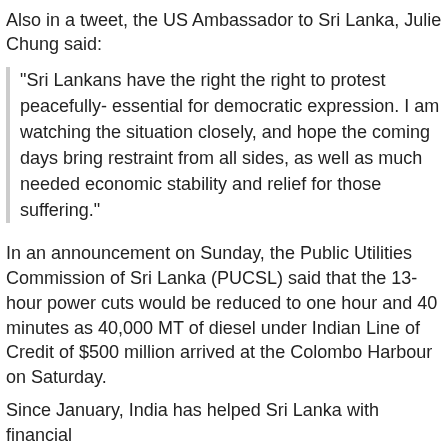Also in a tweet, the US Ambassador to Sri Lanka, Julie Chung said:
"Sri Lankans have the right the right to protest peacefully- essential for democratic expression. I am watching the situation closely, and hope the coming days bring restraint from all sides, as well as much needed economic stability and relief for those suffering."
In an announcement on Sunday, the Public Utilities Commission of Sri Lanka (PUCSL) said that the 13-hour power cuts would be reduced to one hour and 40 minutes as 40,000 MT of diesel under Indian Line of Credit of $500 million arrived at the Colombo Harbour on Saturday.
Since January, India has helped Sri Lanka with financial